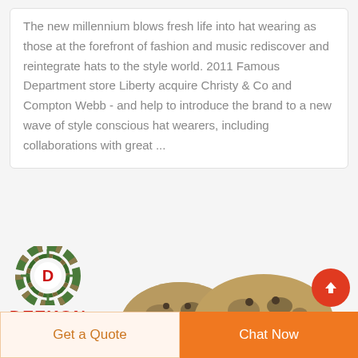The new millennium blows fresh life into hat wearing as those at the forefront of fashion and music rediscover and reintegrate hats to the style world. 2011 Famous Department store Liberty acquire Christy & Co and Compton Webb - and help to introduce the brand to a new wave of style conscious hat wearers, including collaborations with great ...
[Figure (logo): Deekon logo: circular target/crosshair design with camouflage pattern in green and brown, red letter D in center, with DEEKON text in bold red below]
[Figure (photo): Two tactical military knee pads in camouflage (multicam) pattern, side by side]
Get a Quote
Chat Now